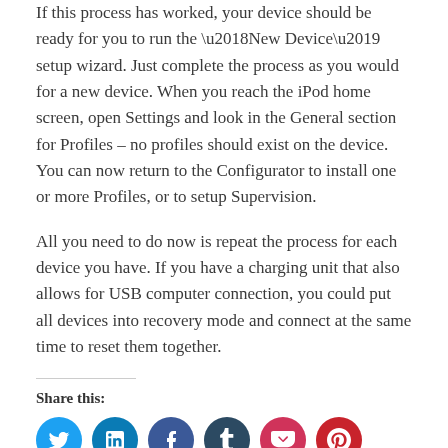If this process has worked, your device should be ready for you to run the ‘New Device’ setup wizard. Just complete the process as you would for a new device. When you reach the iPod home screen, open Settings and look in the General section for Profiles – no profiles should exist on the device. You can now return to the Configurator to install one or more Profiles, or to setup Supervision.
All you need to do now is repeat the process for each device you have. If you have a charging unit that also allows for USB computer connection, you could put all devices into recovery mode and connect at the same time to reset them together.
Share this:
[Figure (infographic): Six social media sharing buttons arranged in a row: Twitter (light blue), LinkedIn (dark blue), Facebook (medium blue), Tumblr (dark slate blue), Pocket (pink/red), Pinterest (red)]